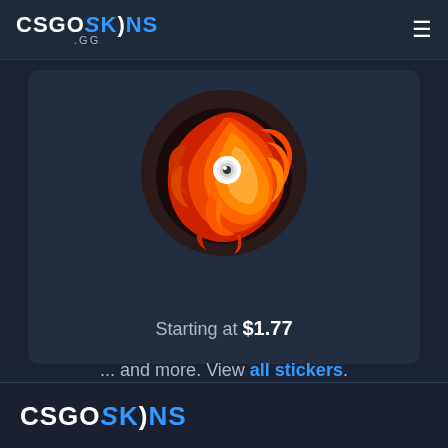CSGOSKINS .GG
[Figure (illustration): A circular sticker showing a fiery lion/dragon creature with orange and red flames, glowing white eye, on a dark round background.]
Starting at $1.77
... and more. View all stickers.
CSGOSKINS